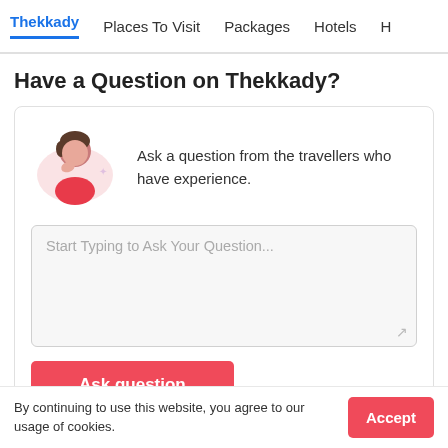Thekkady   Places To Visit   Packages   Hotels   H
Have a Question on Thekkady?
Ask a question from the travellers who have experience.
Start Typing to Ask Your Question...
Ask question
By continuing to use this website, you agree to our usage of cookies.